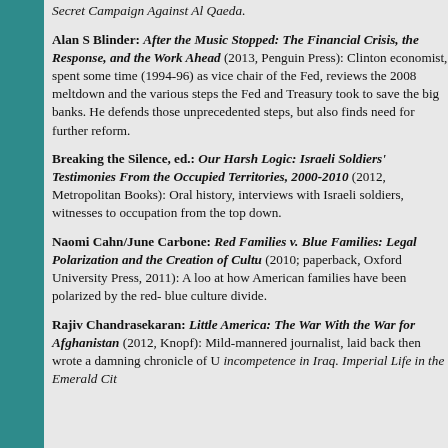Secret Campaign Against Al Qaeda.
Alan S Blinder: After the Music Stopped: The Financial Crisis, the Response, and the Work Ahead (2013, Penguin Press): Clinton economist, spent some time (1994-96) as vice chair of the Fed, reviews the 2008 meltdown and the various steps the Fed and Treasury took to save the big banks. He defends those unprecedented steps, but also finds need for further reform.
Breaking the Silence, ed.: Our Harsh Logic: Israeli Soldiers' Testimonies From the Occupied Territories, 2000-2010 (2012, Metropolitan Books): Oral history, interviews with Israeli soldiers, witnesses to occupation from the top down.
Naomi Cahn/June Carbone: Red Families v. Blue Families: Legal Polarization and the Creation of Culture (2010; paperback, Oxford University Press, 2011): A look at how American families have been polarized by the red-blue culture divide.
Rajiv Chandrasekaran: Little America: The War Within the War for Afghanistan (2012, Knopf): Mild-mannered journalist, laid back then wrote a damning chronicle of US incompetence in Iraq, Imperial Life in the Emerald City.